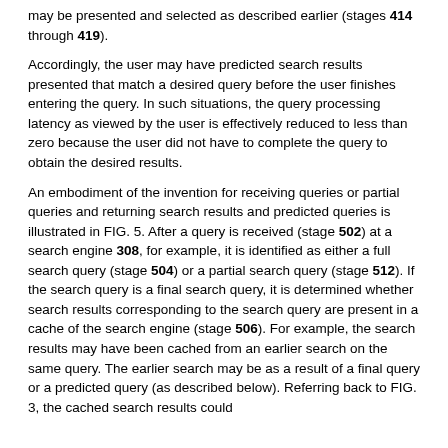may be presented and selected as described earlier (stages 414 through 419).
Accordingly, the user may have predicted search results presented that match a desired query before the user finishes entering the query. In such situations, the query processing latency as viewed by the user is effectively reduced to less than zero because the user did not have to complete the query to obtain the desired results.
An embodiment of the invention for receiving queries or partial queries and returning search results and predicted queries is illustrated in FIG. 5. After a query is received (stage 502) at a search engine 308, for example, it is identified as either a full search query (stage 504) or a partial search query (stage 512). If the search query is a final search query, it is determined whether search results corresponding to the search query are present in a cache of the search engine (stage 506). For example, the search results may have been cached from an earlier search on the same query. The earlier search may be as a result of a final query or a predicted query (as described below). Referring back to FIG. 3, the cached search results could